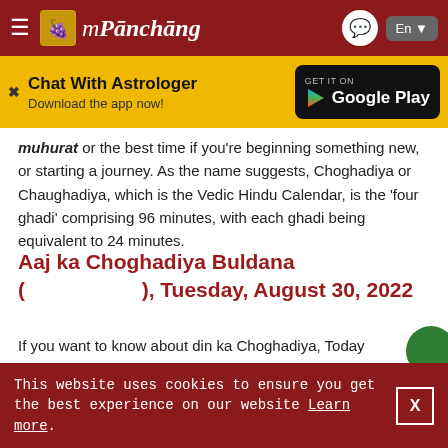mPanchang
[Figure (screenshot): Chat With Astrologer banner with Google Play download button]
muhurat or the best time if you're beginning something new, or starting a journey. As the name suggests, Choghadiya or Chaughadiya, which is the Vedic Hindu Calendar, is the 'four ghadi' comprising 96 minutes, with each ghadi being equivalent to 24 minutes.
Aaj ka Choghadiya Buldana (                ), Tuesday, August 30, 2022
If you want to know about din ka Choghadiya, Today Choghadiya table is constructed to check aaj ka shubh choghadiya muhurat prior to your new commencement.
This website uses cookies to ensure you get the best experience on our website Learn more.